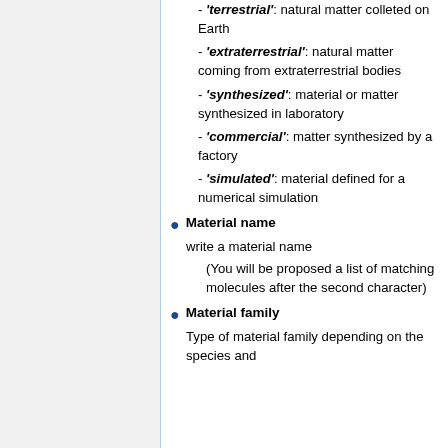- 'terrestrial': natural matter colleted on Earth
- 'extraterrestrial': natural matter coming from extraterrestrial bodies
- 'synthesized': material or matter synthesized in laboratory
- 'commercial': matter synthesized by a factory
- 'simulated': material defined for a numerical simulation
Material name
write a material name
(You will be proposed a list of matching molecules after the second character)
Material family
Type of material family depending on the species and